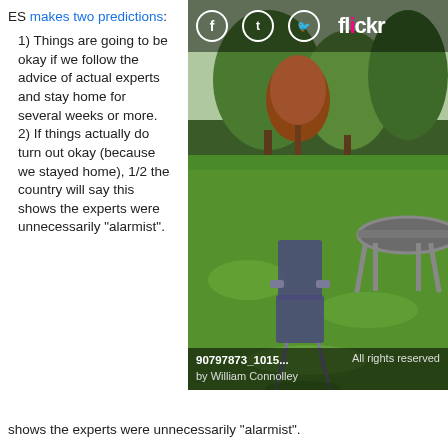ES makes two predictions:
1) Things are going to be okay if we follow the advice of actual experts and stay home for several weeks or more.
2) If things actually do turn out okay (because we stayed home), 1/2 the country will say this shows the experts were unnecessarily "alarmist".
[Figure (photo): A garden scene with a blue folding chair on a green lawn, trees in the background and a trampoline to the right. Shared on Flickr by William Connolley. Filename: 90797873_1015... All rights reserved.]